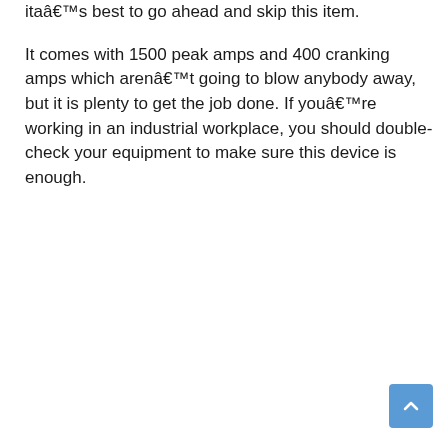ita€™s best to go ahead and skip this item.
It comes with 1500 peak amps and 400 cranking amps which arenâ€™t going to blow anybody away, but it is plenty to get the job done. If youâ€™re working in an industrial workplace, you should double-check your equipment to make sure this device is enough.